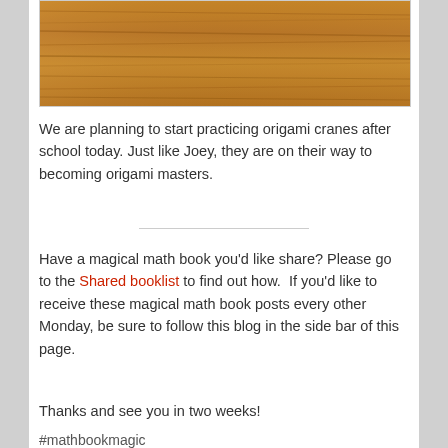[Figure (photo): Photograph of a wooden surface with visible wood grain texture in warm brown and orange tones.]
We are planning to start practicing origami cranes after school today. Just like Joey, they are on their way to becoming origami masters.
Have a magical math book you’d like share? Please go to the Shared booklist to find out how.  If you’d like to receive these magical math book posts every other Monday, be sure to follow this blog in the side bar of this page.
Thanks and see you in two weeks!
#mathbookmagic